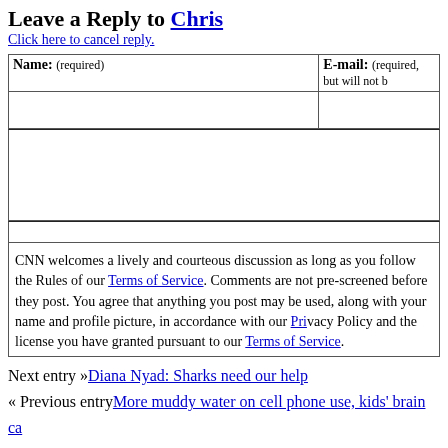Leave a Reply to Chris
Click here to cancel reply.
| Name: (required) | E-mail: (required, but will not be published) |
| --- | --- |
|  |  |
CNN welcomes a lively and courteous discussion as long as you follow the Rules of our Terms of Service. Comments are not pre-screened before they post. You agree that anything you post may be used, along with your name and profile picture, in accordance with our Privacy Policy and the license you have granted pursuant to our Terms of Service.
Next entry »Diana Nyad: Sharks need our help
« Previous entryMore muddy water on cell phone use, kids' brain cancer